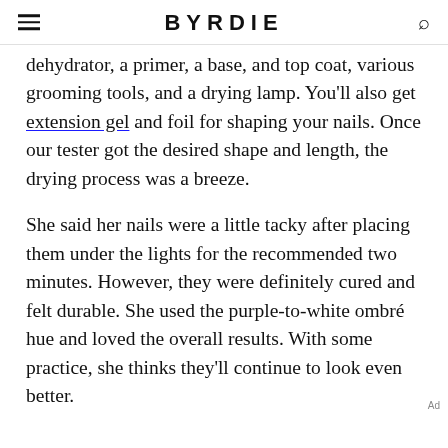BYRDIE
dehydrator, a primer, a base, and top coat, various grooming tools, and a drying lamp. You'll also get extension gel and foil for shaping your nails. Once our tester got the desired shape and length, the drying process was a breeze.
She said her nails were a little tacky after placing them under the lights for the recommended two minutes. However, they were definitely cured and felt durable. She used the purple-to-white ombré hue and loved the overall results. With some practice, she thinks they'll continue to look even better.